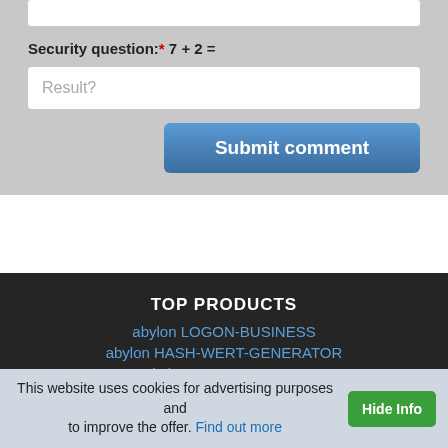Security question:* 7 + 2 =
Result?
Submit comment
TOP PRODUCTS
abylon LOGON-BUSINESS
abylon HASH-WERT-GENERATOR
abylon PROZESS-INFO
abylon FILECOPY
abylon LOCALUSER
DIREKTLINKS
Free trial
This website uses cookies for advertising purposes and to improve the offer. Find out more
Hide Info